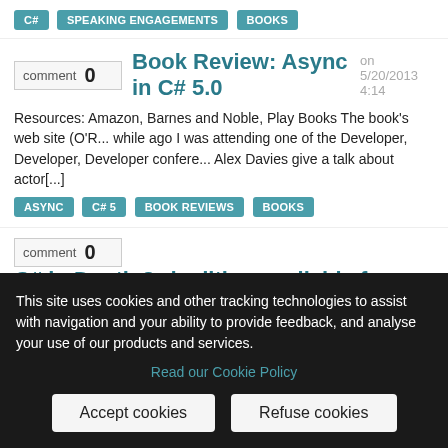C# | SPEAKING ENGAGEMENTS | BOOKS
Book Review: Async in C# 5.0 on 5/20/2013 4:14
Resources: Amazon, Barnes and Noble, Play Books The book's web site (O'R... while ago I was attending one of the Developer, Developer, Developer confere... Alex Davies give a talk about actor[...]
ASYNC | C# 5 | BOOK REVIEWS | BOOKS
C# in Depth 3rd edition available for early acce... code… on 2/16/2013 6:31 AM
Readers who follow me on Twitter or Google+ know this already, but… The th... now available for early access from its page on the Manning website. I've bee... code which expires at midnight EST on February[...]
C# | BOOKS
This site uses cookies and other tracking technologies to assist with navigation and your ability to provide feedback, and analyse your use of our products and services.
Read our Cookie Policy
Accept cookies | Refuse cookies